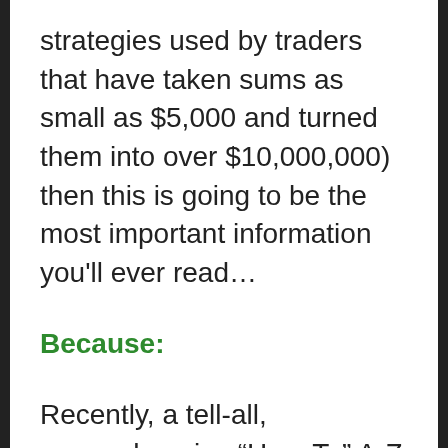strategies used by traders that have taken sums as small as $5,000 and turned them into over $10,000,000) then this is going to be the most important information you'll ever read…
Because:
Recently, a tell-all, comprehensive “How-To” A-Z guide was released in an amazing new video course called “The Masters Course In Automated Algorithmic Trading”.
It’s amazing, because it covers every bit of